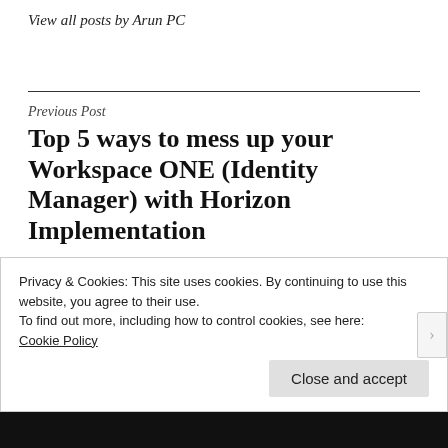View all posts by Arun PC
Previous Post
Top 5 ways to mess up your Workspace ONE (Identity Manager) with Horizon Implementation
Privacy & Cookies: This site uses cookies. By continuing to use this website, you agree to their use.
To find out more, including how to control cookies, see here: Cookie Policy
Close and accept